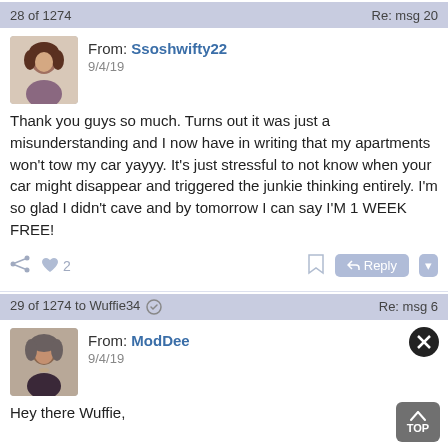28 of 1274 · Re: msg 20
From: Ssoshwifty22
9/4/19
Thank you guys so much. Turns out it was just a misunderstanding and I now have in writing that my apartments won't tow my car yayyy. It's just stressful to not know when your car might disappear and triggered the junkie thinking entirely. I'm so glad I didn't cave and by tomorrow I can say I'M 1 WEEK FREE!
29 of 1274 to Wuffie34 · Re: msg 6
From: ModDee
9/4/19
Hey there Wuffie,